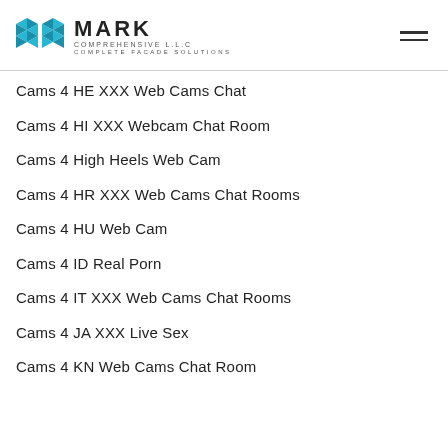MARK COMPREHENSIVE L.L.C COMPLETE FACADE SOLUTIONS
Cams 4 HE XXX Web Cams Chat
Cams 4 HI XXX Webcam Chat Room
Cams 4 High Heels Web Cam
Cams 4 HR XXX Web Cams Chat Rooms
Cams 4 HU Web Cam
Cams 4 ID Real Porn
Cams 4 IT XXX Web Cams Chat Rooms
Cams 4 JA XXX Live Sex
Cams 4 KN Web Cams Chat Room